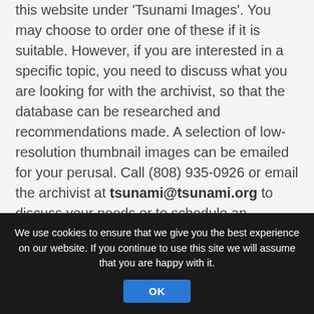this website under 'Tsunami Images'. You may choose to order one of these if it is suitable. However, if you are interested in a specific topic, you need to discuss what you are looking for with the archivist, so that the database can be researched and recommendations made. A selection of low-resolution thumbnail images can be emailed for your perusal. Call (808) 935-0926 or email the archivist at tsunami@tsunami.org to discuss your needs or to schedule an appointment.
Each image ordered has a research fee and a usage fee. The fees help pay for the preservation and maintenance of our collections, as well as archivist time to process
We use cookies to ensure that we give you the best experience on our website. If you continue to use this site we will assume that you are happy with it.